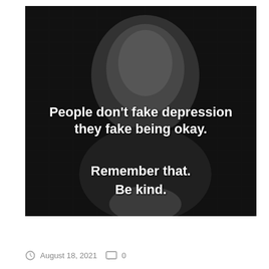[Figure (photo): Black and white photograph of a man (appears to be Robin Williams) with overlaid bold white text reading: 'People don't fake depression they fake being okay.' and below 'Remember that. Be kind.']
August 18, 2021   0